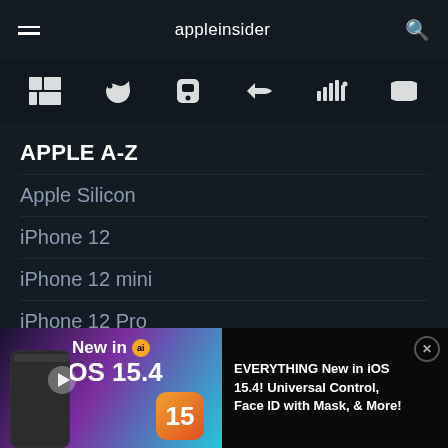appleinsider
[Figure (screenshot): Icon bar with social media and app icons on dark background]
APPLE A-Z
Apple Silicon
iPhone 12
iPhone 12 mini
iPhone 12 Pro
iPhone 12 Pro Max
HomePod mini
[Figure (screenshot): Advertisement banner: New in iOS 15.4 with phone mockup and iOS 15 icon]
EVERYTHING New in iOS 15.4! Universal Control, Face ID with Mask, & More!